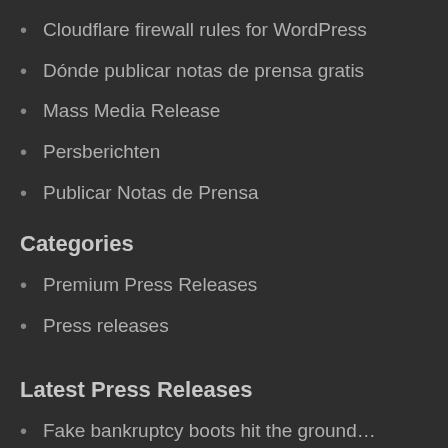Cloudflare firewall rules for WordPress
Dónde publicar notas de prensa gratis
Mass Media Release
Persberichten
Publicar Notas de Prensa
Categories
Premium Press Releases
Press releases
Latest Press Releases
Fake bankruptcy boots hit the ground…